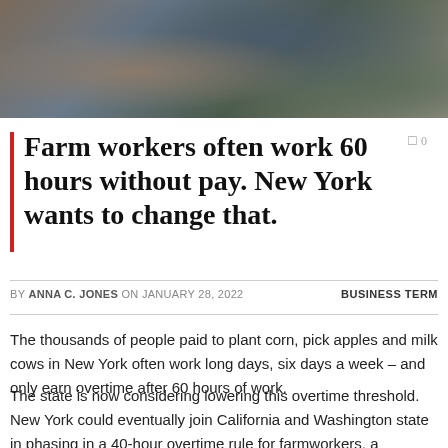[Figure (photo): Photograph of farm workers in an industrial agricultural setting, with green containers and equipment visible in the background]
Farm workers often work 60 hours without pay. New York wants to change that.
BY ANNA C. JONES ON JANUARY 28, 2022   BUSINESS TERM
The thousands of people paid to plant corn, pick apples and milk cows in New York often work long days, six days a week – and only earn overtime after 60 hours of work.
The state is now considering lowering this overtime threshold. New York could eventually join California and Washington state in phasing in a 40-hour overtime rule for farmworkers, a common threshold in other industries.